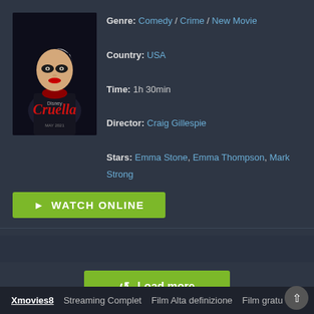[Figure (photo): Cruella movie poster showing a stylized woman with black and white hair, red lips, dark makeup. Movie title 'Cruella' in red lettering.]
Genre: Comedy / Crime / New Movie
Country: USA
Time: 1h 30min
Director: Craig Gillespie
Stars: Emma Stone, Emma Thompson, Mark Strong
► WATCH ONLINE
⟳ Load more
1  2  3  4  5  6  7  8  9  10
...  33
Xmovies8   Streaming Complet   Film Alta definizione   Film gratu